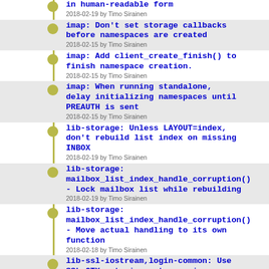in human-readable form
2018-02-19 by Timo Sirainen
imap: Don't set storage callbacks before namespaces are created
2018-02-15 by Timo Sirainen
imap: Add client_create_finish() to finish namespace creation.
2018-02-15 by Timo Sirainen
imap: When running standalone, delay initializing namespaces until PREAUTH is sent
2018-02-15 by Timo Sirainen
lib-storage: Unless LAYOUT=index, don't rebuild list index on missing INBOX
2018-02-19 by Timo Sirainen
lib-storage: mailbox_list_index_handle_corruption() - Lock mailbox list while rebuilding
2018-02-19 by Timo Sirainen
lib-storage: mailbox_list_index_handle_corruption() - Move actual handling to its own function
2018-02-19 by Timo Sirainen
lib-ssl-iostream,login-common: Use SSL_CTX_set_min_proto_version
2018-02-18 by Martti Rannanjärvi
lib-ssl-iostream: Add ssl_protocols_to_min_protocol()
2017-11-11 by Martti Rannanjärvi
configure.ac: Add SSL_CTX_set_min_proto_version detection
2017-11-30 by Martti Rannanjärvi
login-common: Explicitly ignore SSL_CTX_set_ecdh_auto() return value
2018-02-19 by Martti Rannanjärvi
login-common,lib-ssl-iostream: Use SSL_CTX_set_ecdh_auto
2018-02-19 by Martti Rannanjärvi